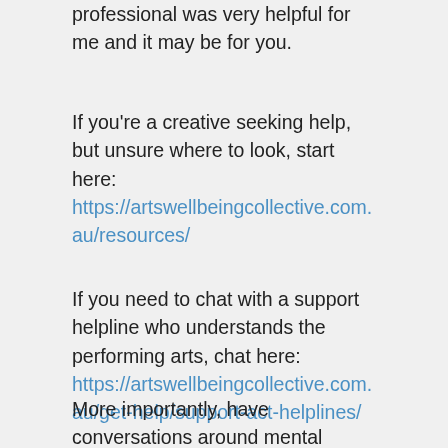professional was very helpful for me and it may be for you.
If you're a creative seeking help, but unsure where to look, start here: https://artswellbeingcollective.com.au/resources/
If you need to chat with a support helpline who understands the performing arts, chat here: https://artswellbeingcollective.com.au/get-help/support-act-helplines/
More importantly, have conversations around mental health with like-minded people and...